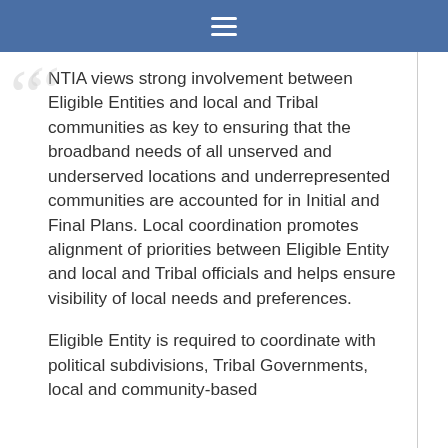≡
NTIA views strong involvement between Eligible Entities and local and Tribal communities as key to ensuring that the broadband needs of all unserved and underserved locations and underrepresented communities are accounted for in Initial and Final Plans. Local coordination promotes alignment of priorities between Eligible Entity and local and Tribal officials and helps ensure visibility of local needs and preferences.
Eligible Entity is required to coordinate with political subdivisions, Tribal Governments, local and community-based